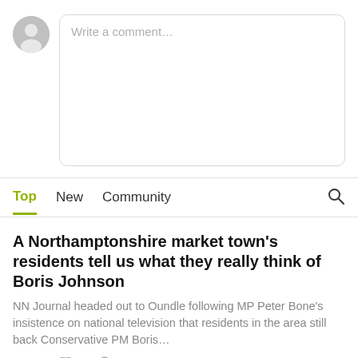[Figure (screenshot): Comment input area with avatar and text box placeholder reading 'Write a comment...']
Top   New   Community
A Northamptonshire market town's residents tell us what they really think of Boris Johnson
NN Journal headed out to Oundle following MP Peter Bone's insistence on national television that residents in the area still back Conservative PM Boris…
JAN 18  ♡ 18  ○ 15  ➤
Kicked out: Concerns raised about permanent exclusions at Wellingborough secondary